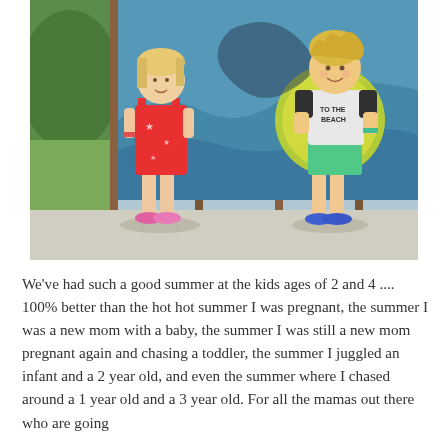[Figure (photo): Two young children standing in front of a colorful graffiti wall. On the left, a girl in a red floral romper with pink sneakers. On the right, a boy in a 'To The Beach' t-shirt with green shorts and blue sneakers.]
We've had such a good summer at the kids ages of 2 and 4 .... 100% better than the hot hot summer I was pregnant, the summer I was a new mom with a baby, the summer I was still a new mom pregnant again and chasing a toddler, the summer I juggled an infant and a 2 year old, and even the summer where I chased around a 1 year old and a 3 year old. For all the mamas out there who are going